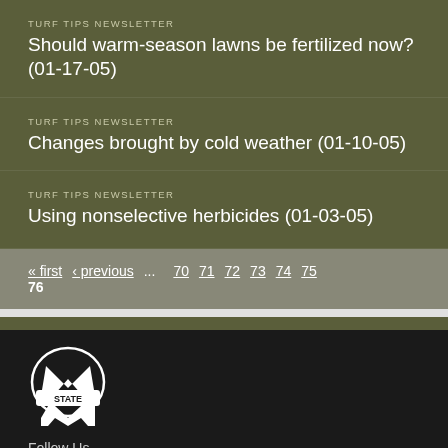TURF TIPS NEWSLETTER
Should warm-season lawns be fertilized now? (01-17-05)
TURF TIPS NEWSLETTER
Changes brought by cold weather (01-10-05)
TURF TIPS NEWSLETTER
Using nonselective herbicides (01-03-05)
« first  ‹ previous  ...  70  71  72  73  74  75  76
[Figure (logo): Mississippi State University M-STATE logo in white]
Follow Us
Facebook